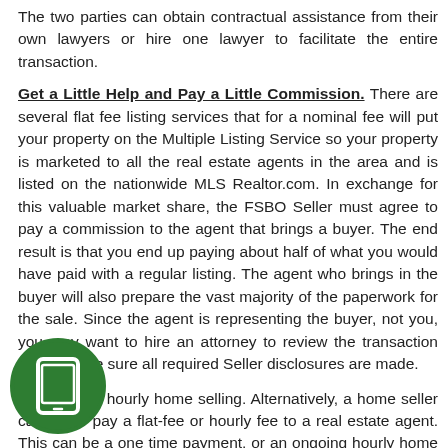The two parties can obtain contractual assistance from their own lawyers or hire one lawyer to facilitate the entire transaction.
Get a Little Help and Pay a Little Commission. There are several flat fee listing services that for a nominal fee will put your property on the Multiple Listing Service so your property is marketed to all the real estate agents in the area and is listed on the nationwide MLS Realtor.com. In exchange for this valuable market share, the FSBO Seller must agree to pay a commission to the agent that brings a buyer. The end result is that you end up paying about half of what you would have paid with a regular listing. The agent who brings in the buyer will also prepare the vast majority of the paperwork for the sale. Since the agent is representing the buyer, not you, you may want to hire an attorney to review the transaction and to make sure all required Seller disclosures are made.
Flat-fee and hourly home selling. Alternatively, a home seller can either pay a flat-fee or hourly fee to a real estate agent. This can be a one time payment, or an ongoing hourly home selling agreement. These allow the FSBO seller to avoid commissions and still receive a-la-carte real estate agent help.
Disclosures and Documents
The real estate sale transaction used to be simple. Now it involves a huge stack of documents and legal requirements which can make selling FSBO a challenge. For this reason, the FSBO Seller is wise to hire an
[Figure (illustration): Green circle icon with a tablet/phone device symbol in white]